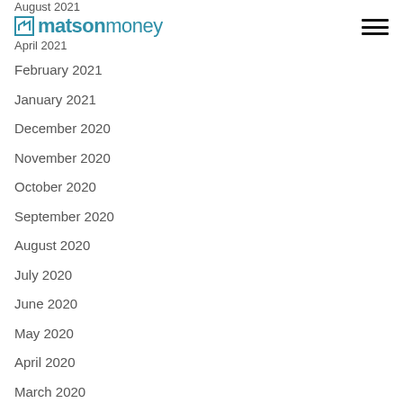August 2021 | matsonmoney | April 2021
February 2021
January 2021
December 2020
November 2020
October 2020
September 2020
August 2020
July 2020
June 2020
May 2020
April 2020
March 2020